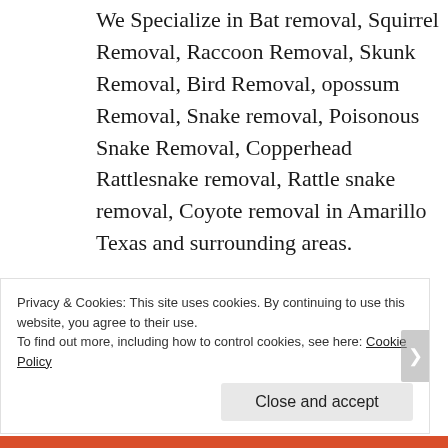We Specialize in Bat removal, Squirrel Removal, Raccoon Removal, Skunk Removal, Bird Removal, opossum Removal, Snake removal, Poisonous Snake Removal, Copperhead Rattlesnake removal, Rattle snake removal, Coyote removal in Amarillo Texas and surrounding areas.
Animal Control and wildlife
Privacy & Cookies: This site uses cookies. By continuing to use this website, you agree to their use.
To find out more, including how to control cookies, see here: Cookie Policy